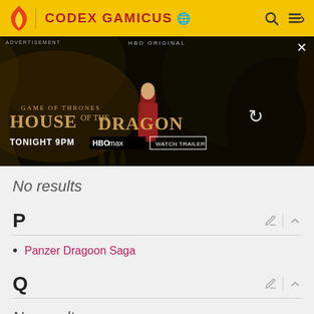CODEX GAMICUS
[Figure (screenshot): HBO Original advertisement banner for House of the Dragon, showing a woman in red standing before a dragon, with text 'GAME OF THRONES HOUSE OF THE DRAGON TONIGHT 9PM HBO max WATCH TRAILER']
No results
P
Panzer Dragoon Saga
Q
No results